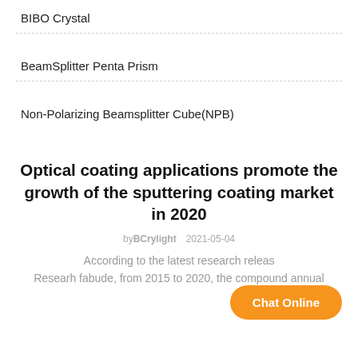BIBO Crystal
BeamSplitter Penta Prism
Non-Polarizing Beamsplitter Cube(NPB)
Optical coating applications promote the growth of the sputtering coating market in 2020
byBCrylight   2021-05-04
According to the latest research releas... Researh fabude, from 2015 to 2020, the compound annual